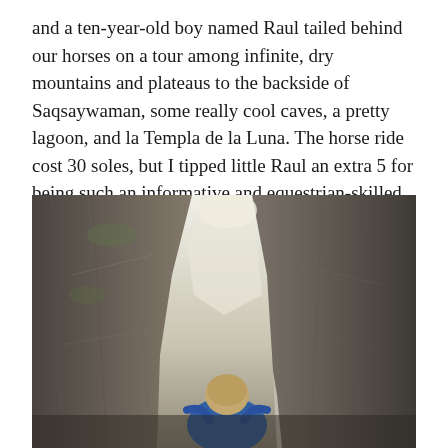and a ten-year-old boy named Raul tailed behind our horses on a tour among infinite, dry mountains and plateaus to the backside of Saqsaywaman, some really cool caves, a pretty lagoon, and la Templa de la Luna. The horse ride cost 30 soles, but I tipped little Raul an extra 5 for being such an informative and equestrian-skilled guide.
[Figure (photo): A person wearing a blue top with light-colored hair looks upward through a narrow rocky canyon passage. The crack between two large rock walls opens to a bright sky above. The rock surfaces are textured and grey-brown.]